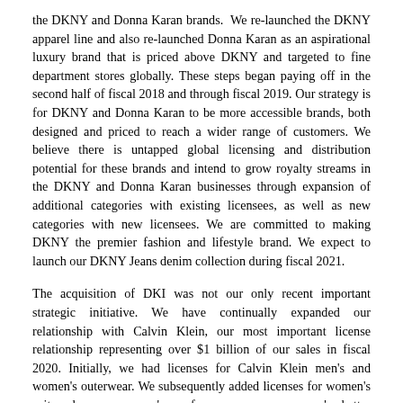the DKNY and Donna Karan brands. We re-launched the DKNY apparel line and also re-launched Donna Karan as an aspirational luxury brand that is priced above DKNY and targeted to fine department stores globally. These steps began paying off in the second half of fiscal 2018 and through fiscal 2019. Our strategy is for DKNY and Donna Karan to be more accessible brands, both designed and priced to reach a wider range of customers. We believe there is untapped global licensing and distribution potential for these brands and intend to grow royalty streams in the DKNY and Donna Karan businesses through expansion of additional categories with existing licensees, as well as new categories with new licensees. We are committed to making DKNY the premier fashion and lifestyle brand. We expect to launch our DKNY Jeans denim collection during fiscal 2021.
The acquisition of DKI was not our only recent important strategic initiative. We have continually expanded our relationship with Calvin Klein, our most important license relationship representing over $1 billion of our sales in fiscal 2020. Initially, we had licenses for Calvin Klein men's and women's outerwear. We subsequently added licenses for women's suits, dresses, women's performance wear, women's better sportswear, men's and women's swimwear, women's handbags and small leather goods and luggage. In June 2019, we expanded our relationship with Calvin Klein by entering into a license agreement with an initial term of five years for the design, production and wholesale distribution of Calvin